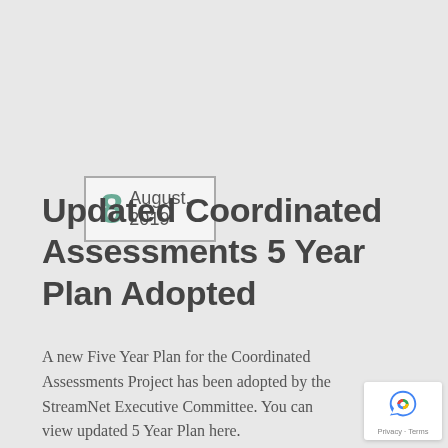8 August, 2019
Updated Coordinated Assessments 5 Year Plan Adopted
A new Five Year Plan for the Coordinated Assessments Project has been adopted by the StreamNet Executive Committee. You can view updated 5 Year Plan here.